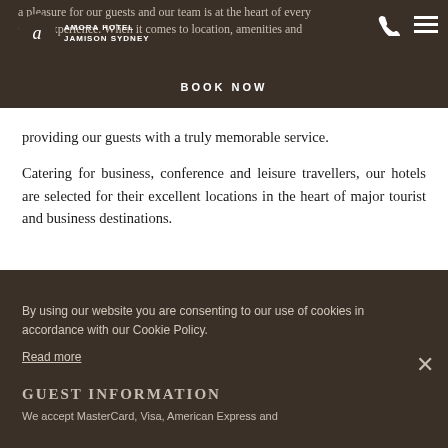AMORA HOTEL JAMISON SYDNEY | BOOK NOW
a pleasure for our guests and our team is at the heart of every guest experience. When it comes to location, amenities and providing our guests with a truly memorable service.
Catering for business, conference and leisure travellers, our hotels are selected for their excellent locations in the heart of major tourist and business destinations.
By using our website you are consenting to our use of cookies in accordance with our Cookie Policy.
Read more
ACCEPT
GUEST INFORMATION
We accept MasterCard, Visa, American Express and